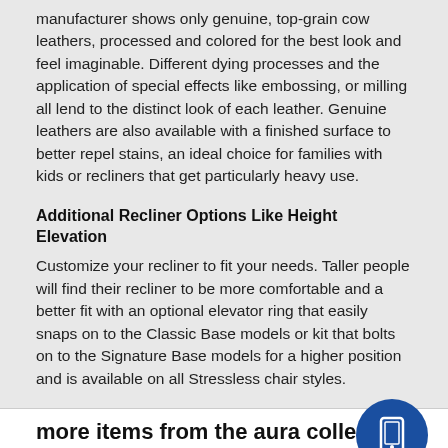manufacturer shows only genuine, top-grain cow leathers, processed and colored for the best look and feel imaginable. Different dying processes and the application of special effects like embossing, or milling all lend to the distinct look of each leather. Genuine leathers are also available with a finished surface to better repel stains, an ideal choice for families with kids or recliners that get particularly heavy use.
Additional Recliner Options Like Height Elevation
Customize your recliner to fit your needs. Taller people will find their recliner to be more comfortable and a better fit with an optional elevator ring that easily snaps on to the Classic Base models or kit that bolts on to the Signature Base models for a higher position and is available on all Stressless chair styles.
more items from the aura collection
[Figure (illustration): Blue circular button with a white tablet/phone icon in the center]